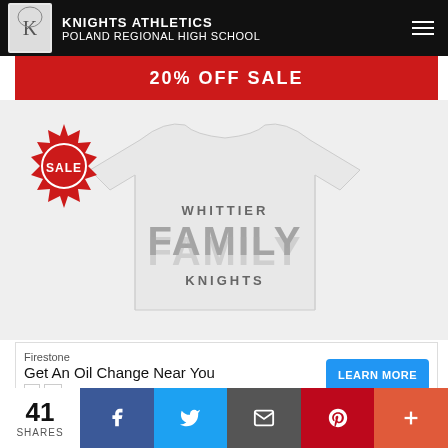KNIGHTS ATHLETICS POLAND REGIONAL HIGH SCHOOL
20% OFF SALE
[Figure (photo): White t-shirt with 'WHITTIER FAMILY KNIGHTS' text design, with a red SALE badge overlay in the top left corner]
Firestone
Get An Oil Change Near You
LEARN MORE
41 SHARES